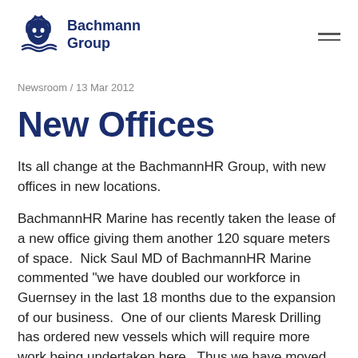Bachmann Group
Newsroom / 13 Mar 2012
New Offices
Its all change at the BachmannHR Group, with new offices in new locations.
BachmannHR Marine has recently taken the lease of a new office giving them another 120 square meters of space.  Nick Saul MD of BachmannHR Marine commented "we have doubled our workforce in Guernsey in the last 18 months due to the expansion of our business.  One of our clients Maresk Drilling has ordered new vessels which will require more work being undertaken here.  Thus we have moved our